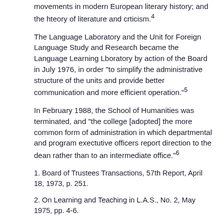movements in modern European literary history; and the hteory of literature and crticism.4
The Language Laboratory and the Unit for Foreign Language Study and Research became the Language Learning Lboratory by action of the Board in July 1976, in order "to simplify the administrative structure of the units and provide better communication and more efficient operation."5
In February 1988, the School of Humanities was terminated, and "the college [adopted] the more common form of administration in which departmental and program exectutive officers report direction to the dean rather than to an intermediate office."6
1. Board of Trustees Transactions, 57th Report, April 18, 1973, p. 251.
2. On Learning and Teaching in L.A.S., No. 2, May 1975, pp. 4-6.
3. Board of Trustees Transactions, 58th Report, February 19, 1975, p. 183.
4. Board of Trustees Transactions, 52nd Report, April 18, 1962, p. 1413.
5. Board of Trustees Transactions, 59th Report, July 21,